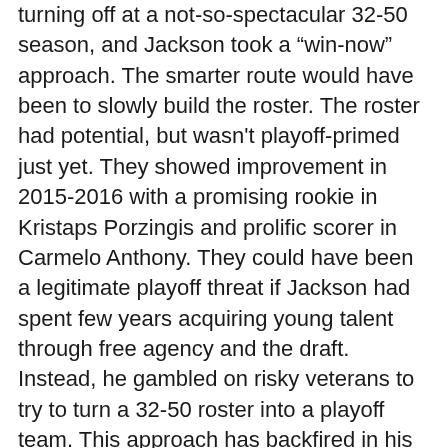turning off at a not-so-spectacular 32-50 season, and Jackson took a "win-now" approach. The smarter route would have been to slowly build the roster. The roster had potential, but wasn't playoff-primed just yet. They showed improvement in 2015-2016 with a promising rookie in Kristaps Porzingis and prolific scorer in Carmelo Anthony. They could have been a legitimate playoff threat if Jackson had spent few years acquiring young talent through free agency and the draft. Instead, he gambled on risky veterans to try to turn a 32-50 roster into a playoff team. This approach has backfired in his face with the team now sitting at 27-45. The rash decisions and the win-now mentality could partially be attributed to the fact that the Knicks are a massive franchise with immediate results being an expectation every season. However, due to the Knicks' lack of success in their history as an NBA team, Jackson should have simply internalized the same criticism that he took when the Knicks drafted Porzingis, and worked towards crafting a winning roster over time.